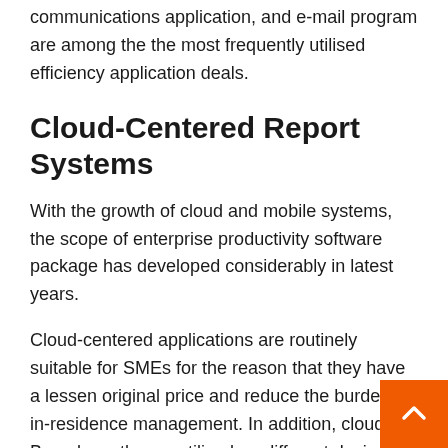communications application, and e-mail program are among the the most frequently utilised efficiency application deals.
Cloud-Centered Report Systems
With the growth of cloud and mobile systems, the scope of enterprise productivity software package has developed considerably in latest years.
Cloud-centered applications are routinely suitable for SMEs for the reason that they have a lessen original price and reduce the burden of in-residence management. In addition, cloud-Based mostly app utilized on different devices and in any site in whi world wide web connection is offered, which assists